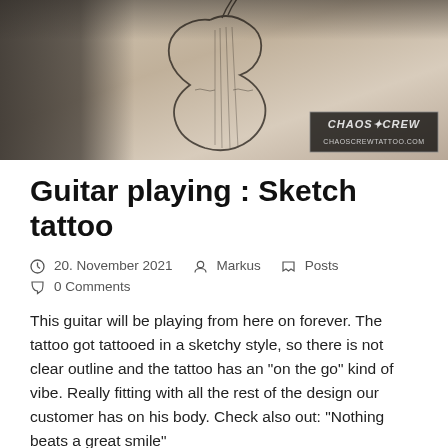[Figure (photo): Close-up photo of a tattoo on a person's wrist/arm, appearing to be a sketch-style guitar tattoo. The image has a watermark in the bottom-right corner reading 'CHAOS X CREW / CHAOSCREWTATTOO.COM'.]
Guitar playing : Sketch tattoo
20. November 2021   Markus   Posts
0 Comments
This guitar will be playing from here on forever. The tattoo got tattooed in a sketchy style, so there is not clear outline and the tattoo has an "on the go" kind of vibe. Really fitting with all the rest of the design our customer has on his body. Check also out: "Nothing beats a great smile"